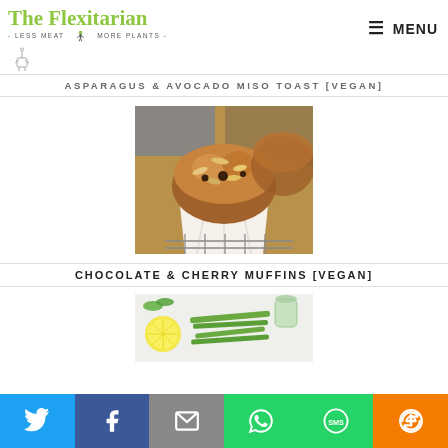The Flexitarian - LESS MEAT MORE PLANTS - MENU
ASPARAGUS & AVOCADO MISO TOAST [VEGAN]
[Figure (photo): Close-up photo of a chocolate and cherry muffin with oat topping in a paper liner on a wire rack]
CHOCOLATE & CHERRY MUFFINS [VEGAN]
[Figure (photo): Photo of asparagus, lemon slices, and herbs on a white surface for a recipe]
Social share bar: Twitter, Facebook, Email, WhatsApp, SMS, More